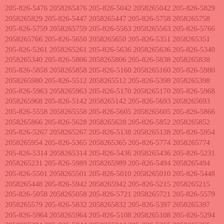205-826-5476 2058265476 205-826-5042 2058265042 205-826-5829 2058265829 205-826-5447 2058265447 205-826-5758 2058265758 205-826-5759 2058265759 205-826-5563 2058265563 205-826-5766 2058265766 205-826-5650 2058265650 205-826-5351 2058265351 205-826-5261 2058265261 205-826-5636 2058265636 205-826-5340 2058265340 205-826-5806 2058265806 205-826-5838 2058265838 205-826-5858 2058265858 205-826-5160 2058265160 205-826-5980 2058265980 205-826-5512 2058265512 205-826-5398 2058265398 205-826-5963 2058265963 205-826-5170 2058265170 205-826-5968 2058265968 205-826-5142 2058265142 205-826-5693 2058265693 205-826-5558 2058265558 205-826-5605 2058265605 205-826-5866 2058265866 205-826-5628 2058265628 205-826-5852 2058265852 205-826-5267 2058265267 205-826-5138 2058265138 205-826-5954 2058265954 205-826-5365 2058265365 205-826-5774 2058265774 205-826-5314 2058265314 205-826-5436 2058265436 205-826-5231 2058265231 205-826-5989 2058265989 205-826-5494 2058265494 205-826-5501 2058265501 205-826-5010 2058265010 205-826-5448 2058265448 205-826-5942 2058265942 205-826-5215 2058265215 205-826-5058 2058265058 205-826-5721 2058265721 205-826-5579 2058265579 205-826-5832 2058265832 205-826-5397 2058265397 205-826-5964 2058265964 205-826-5108 2058265108 205-826-5294 2058265294 205-826-5844 2058265844 205-826-5366 2058265366 205-826-5027 2058265027 205-826-5417 2058265417 205-826-5779 2058265779 205-826-5707 2058265707 205-826-5984 2058265984 205-826-5040 2058265040 205-826-5169 2058265169 205-826-5810 2058265810